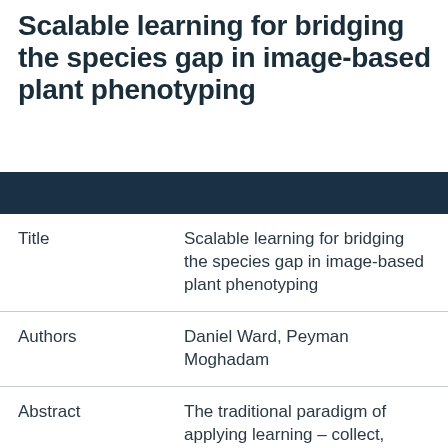Scalable learning for bridging the species gap in image-based plant phenotyping
| Title | Scalable learning for bridging the species gap in image-based plant phenotyping |
| Authors | Daniel Ward, Peyman Moghadam |
| Abstract | The traditional paradigm of applying learning – collect, annotate and train – is not applicable to image-based plant phenotyping as almost 400,000 different plant species exists. Data costs include growing physical samples, imaging and labelling them. Model performance is |